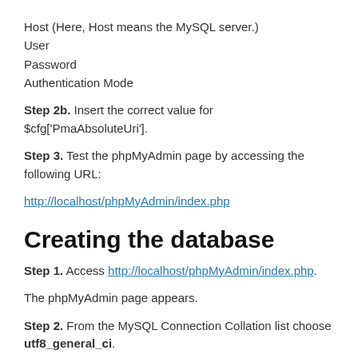Host (Here, Host means the MySQL server.)
User
Password
Authentication Mode
Step 2b. Insert the correct value for $cfg['PmaAbsoluteUri'].
Step 3. Test the phpMyAdmin page by accessing the following URL:
http://localhost/phpMyAdmin/index.php
Creating the database
Step 1. Access http://localhost/phpMyAdmin/index.php.
The phpMyAdmin page appears.
Step 2. From the MySQL Connection Collation list choose utf8_general_ci.